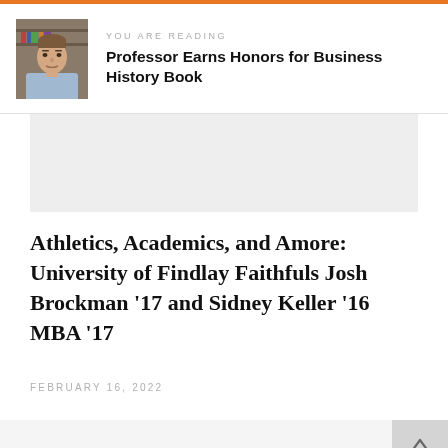YOU ARE READING — Professor Earns Honors for Business History Book
[Figure (photo): Portrait photo of a man in a light blue shirt, with bookshelves in the background]
[Figure (photo): Large article image placeholder (light gray background)]
Athletics, Academics, and Amore: University of Findlay Faithfuls Josh Brockman '17 and Sidney Keller '16 MBA '17
FEBRUARY 16, 2022